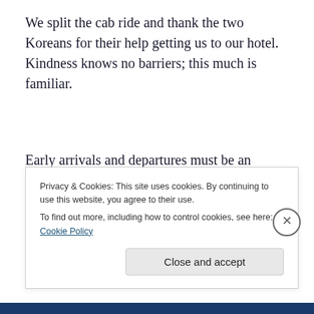We split the cab ride and thank the two Koreans for their help getting us to our hotel. Kindness knows no barriers; this much is familiar.
Early arrivals and departures must be an everyday occurrence at this hotel. We camp out in the lobby (Adam kicking off his shoes and curling up on the sofa while a continental breakfast is visited by early hotel patrons) until
Privacy & Cookies: This site uses cookies. By continuing to use this website, you agree to their use.
To find out more, including how to control cookies, see here: Cookie Policy
Close and accept